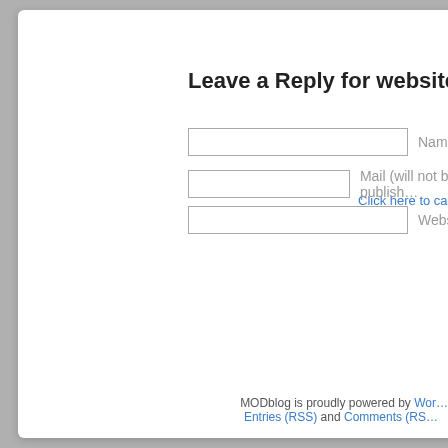Leave a Reply for website
Click here to cancel reply.
Name
Mail (will not be published)
Website
MODblog is proudly powered by WordPress. Entries (RSS) and Comments (RSS).